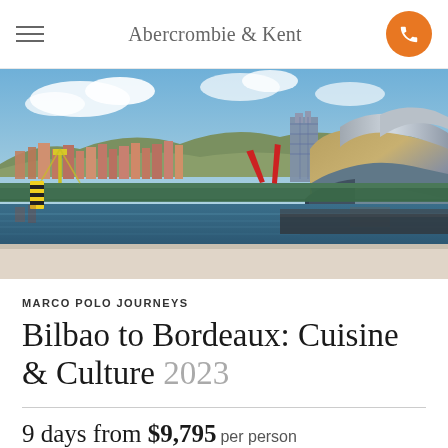Abercrombie & Kent
[Figure (photo): Aerial/riverside view of Bilbao with the Guggenheim Museum Bilbao in the foreground (titanium-clad metallic structure), a green bridge crossing the Nervion river, red sculpture, and colorful hillside buildings in the background under a blue sky with clouds.]
MARCO POLO JOURNEYS
Bilbao to Bordeaux: Cuisine & Culture 2023
9 days from $9,795 per person
Limited to 18 guests